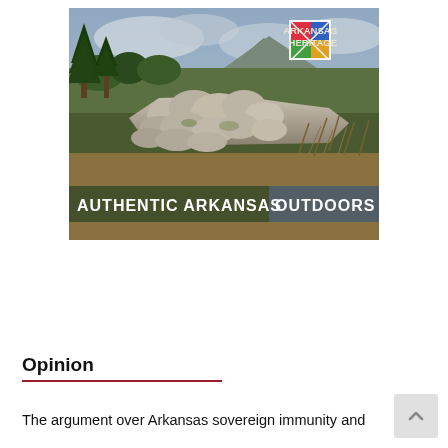[Figure (photo): Advertisement photo showing rocky Arkansas outdoor landscape with pine trees and a mountain in the background under a cloudy sky. Overlaid text reads 'AUTHENTIC ARKANSAS OUTDOORS' with an Arkansas Heritage logo in the upper right corner.]
Opinion
The argument over Arkansas sovereign immunity and